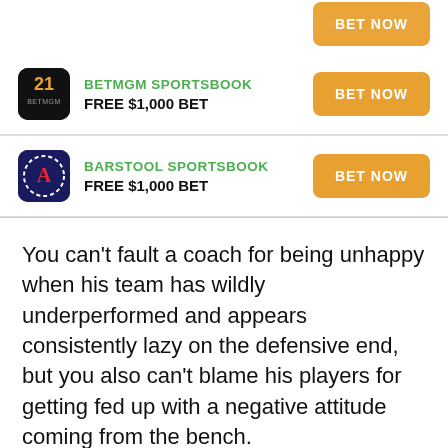[Figure (logo): Partial orange BET NOW button at top of page]
BETMGM SPORTSBOOK - FREE $1,000 BET - BET NOW
BARSTOOL SPORTSBOOK - FREE $1,000 BET - BET NOW
You can't fault a coach for being unhappy when his team has wildly underperformed and appears consistently lazy on the defensive end, but you also can't blame his players for getting fed up with a negative attitude coming from the bench.
The Knicks were supposed to be a veteran team that went to the playoffs. They weren't expected to need a